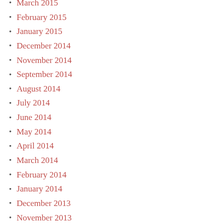March 2015
February 2015
January 2015
December 2014
November 2014
September 2014
August 2014
July 2014
June 2014
May 2014
April 2014
March 2014
February 2014
January 2014
December 2013
November 2013
October 2013
September 2013
August 2013
July 2013
June 2013
May 2013
April 2013
March 2013